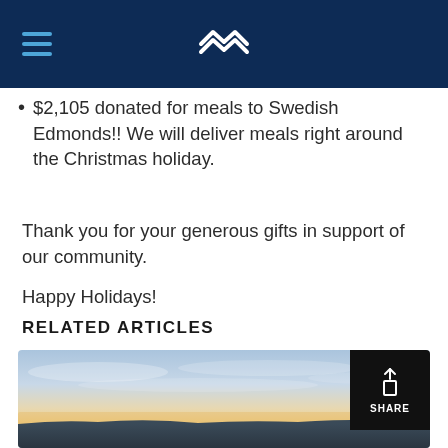Navigation header with hamburger menu and logo
$2,105 donated for meals to Swedish Edmonds!! We will deliver meals right around the Christmas holiday.
Thank you for your generous gifts in support of our community.
Happy Holidays!
RELATED ARTICLES
[Figure (photo): Sunset or sunrise landscape with colorful sky over water/land silhouette, with a SHARE button overlay in the top-right corner]